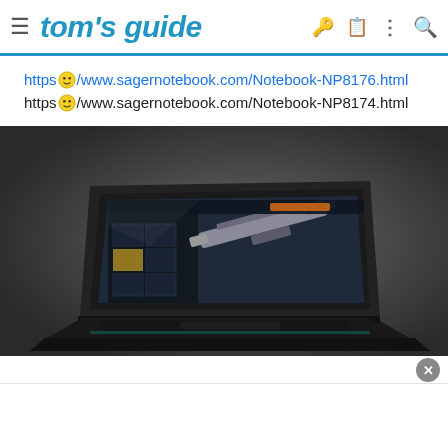tom's guide
https://www.sagernotebook.com/Notebook-NP8176.html
https://www.sagernotebook.com/Notebook-NP8174.html
[Figure (photo): Gaming laptop (Sager notebook) shown at an angle displaying a first-person shooter game on screen, on a dark grey background]